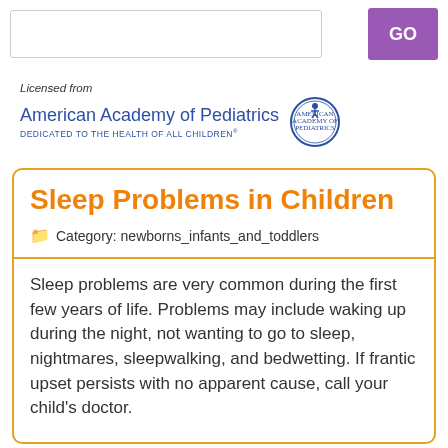GO
[Figure (logo): Licensed from American Academy of Pediatrics logo with seal. Text: 'Licensed from', 'American Academy of Pediatrics', 'DEDICATED TO THE HEALTH OF ALL CHILDREN']
Sleep Problems in Children
Category: newborns_infants_and_toddlers
Sleep problems are very common during the first few years of life. Problems may include waking up during the night, not wanting to go to sleep, nightmares, sleepwalking, and bedwetting. If frantic upset persists with no apparent cause, call your child's doctor.